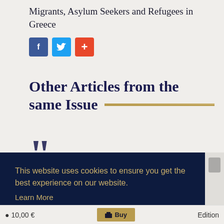Migrants, Asylum Seekers and Refugees in Greece
[Figure (other): Social share buttons: Facebook (blue), Twitter (light blue), Plus/share (red-orange)]
Other Articles from the same Issue
This website uses cookies to ensure you get the best experience on our website.
Learn More
Got it!
10,00 € | Buy | Edition